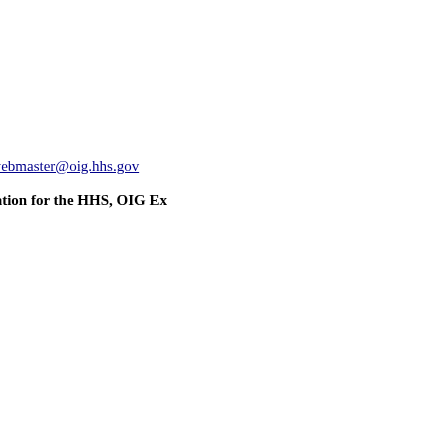Health Care Administrative Sanctions
Room N2-01-26
7500 Security Boulevard
Baltimore, MD 21244-1850
E-mail Address:
sanction@oig.hhs.gov
For questions regarding operation of the site, contact the webmaster at: webmaster@oig.hhs.gov
Members of the media or general public seeking contact information for the HHS, OIG Exclusions Office here.
TO OBTAIN DOCUMENTATION ON EXCLUDED INDIVIDUALS OR ENTITIES:
If you have verified the identity of an excluded individual and are seeking documentation of this action, you may submit a written request to the address listed above. Your request should include a copy of the LEIE page identifying the individual or entity. Requests without this information from the LEIE will be returned. In most instances, the only documentation available will be the exclusion letter itself, which notifies the party of the exclusion, its basis, and information concerning appeal rights. It does not contain specific details regarding the basis for the exclusion. If an excluded party has been reinstated, that re